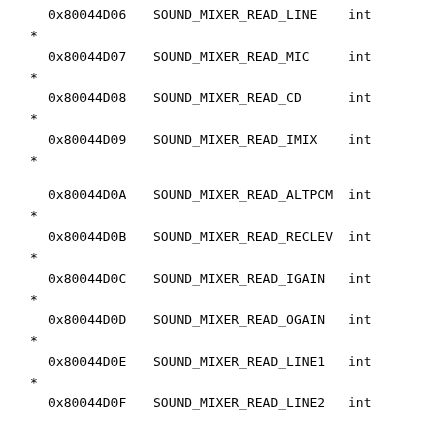0x80044D06   SOUND_MIXER_READ_LINE    int
*
0x80044D07   SOUND_MIXER_READ_MIC     int
*
0x80044D08   SOUND_MIXER_READ_CD      int
*
0x80044D09   SOUND_MIXER_READ_IMIX    int
*
0x80044D0A   SOUND_MIXER_READ_ALTPCM  int
*
0x80044D0B   SOUND_MIXER_READ_RECLEV  int
*
0x80044D0C   SOUND_MIXER_READ_IGAIN   int
*
0x80044D0D   SOUND_MIXER_READ_OGAIN   int
*
0x80044D0E   SOUND_MIXER_READ_LINE1   int
*
0x80044D0F   SOUND_MIXER_READ_LINE2   int